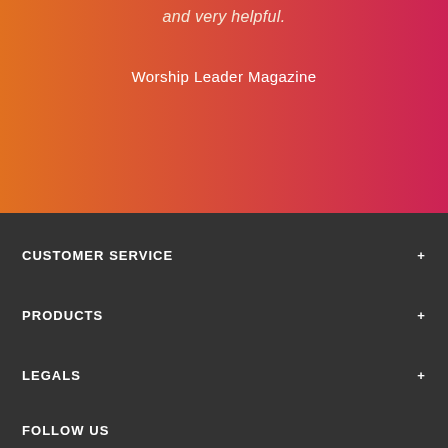and very helpful.
Worship Leader Magazine
CUSTOMER SERVICE
PRODUCTS
LEGALS
FOLLOW US